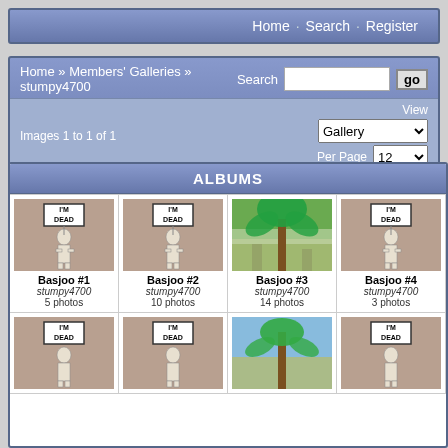Home · Search · Register
Home » Members' Galleries » stumpy4700
Search
Images 1 to 1 of 1
View
Gallery
Per Page 12
ALBUMS
[Figure (photo): Cat figurine holding I'M DEAD sign - Basjoo #1]
Basjoo #1
stumpy4700
5 photos
[Figure (photo): Cat figurine holding I'M DEAD sign - Basjoo #2]
Basjoo #2
stumpy4700
10 photos
[Figure (photo): Banana plant Basjoo #3]
Basjoo #3
stumpy4700
14 photos
[Figure (photo): Cat figurine holding I'M DEAD sign - Basjoo #4]
Basjoo #4
stumpy4700
3 photos
[Figure (photo): Cat figurine holding I'M DEAD sign - row 2 col 1]
[Figure (photo): Cat figurine holding I'M DEAD sign - row 2 col 2]
[Figure (photo): Banana plant row 2 col 3]
[Figure (photo): Cat figurine holding I'M DEAD sign - row 2 col 4]